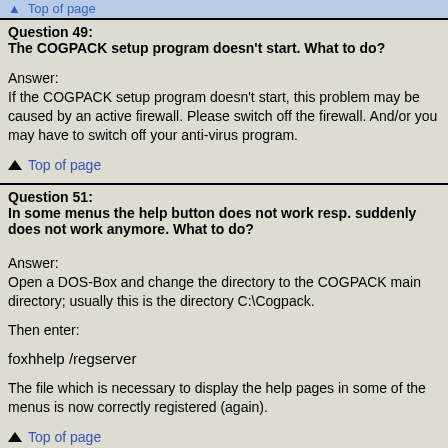Top of page
Question 49:
The COGPACK setup program doesn't start. What to do?
Answer:
If the COGPACK setup program doesn't start, this problem may be caused by an active firewall. Please switch off the firewall. And/or you may have to switch off your anti-virus program.
↑ Top of page
Question 51:
In some menus the help button does not work resp. suddenly does not work anymore. What to do?
Answer:
Open a DOS-Box and change the directory to the COGPACK main directory; usually this is the directory C:\Cogpack.
Then enter:
foxhhelp /regserver
The file which is necessary to display the help pages in some of the menus is now correctly registered (again).
↑ Top of page